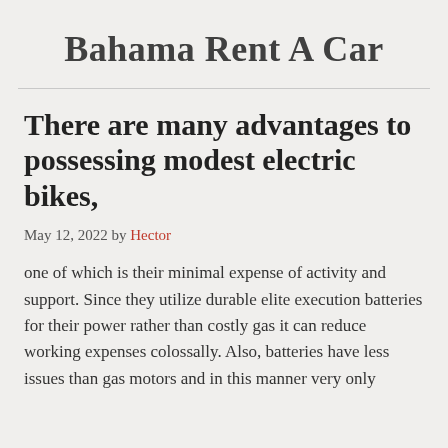Bahama Rent A Car
There are many advantages to possessing modest electric bikes,
May 12, 2022 by Hector
one of which is their minimal expense of activity and support. Since they utilize durable elite execution batteries for their power rather than costly gas it can reduce working expenses colossally. Also, batteries have less issues than gas motors and in this manner very only for routine maintenance and fix. The machine also reduces noise